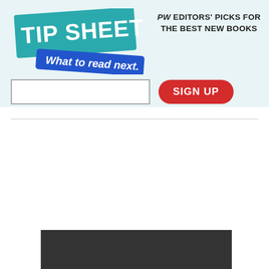[Figure (logo): Tip Sheet logo with teal/green background, white bold text 'TIP SHEET' and a blue banner below with white italic text 'What to read next.']
PW EDITORS' PICKS FOR THE BEST NEW BOOKS
[Figure (other): Email input field (white rectangle with border) and a red rounded SIGN UP button]
[Figure (photo): Dark gray/black rectangular image strip at the bottom of the page]